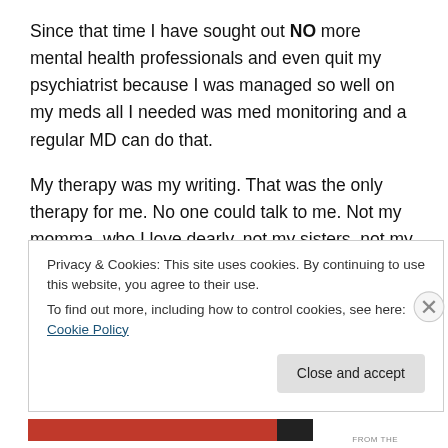Since that time I have sought out NO more mental health professionals and even quit my psychiatrist because I was managed so well on my meds all I needed was med monitoring and a regular MD can do that.
My therapy was my writing. That was the only therapy for me. No one could talk to me. Not my momma, who I love dearly, not my sisters, not my husband, not anyone. Sometimes I can open up and talk and cry, but for the most part I’m a mixture of dead inside and pain inside. I
Privacy & Cookies: This site uses cookies. By continuing to use this website, you agree to their use.
To find out more, including how to control cookies, see here: Cookie Policy
Close and accept